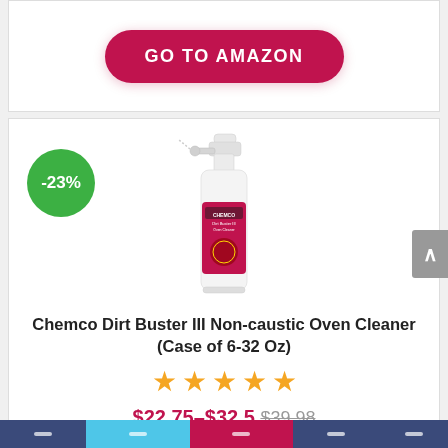[Figure (other): Red pill-shaped 'GO TO AMAZON' button with white bold uppercase text]
[Figure (photo): Product photo of Chemco Dirt Buster III Non-caustic Oven Cleaner spray bottle (32 oz), white bottle with red label, alongside a green circular discount badge showing -23%]
Chemco Dirt Buster III Non-caustic Oven Cleaner (Case of 6-32 Oz)
[Figure (other): Five orange/yellow star rating icons]
$22.75–$32.5 $39.98